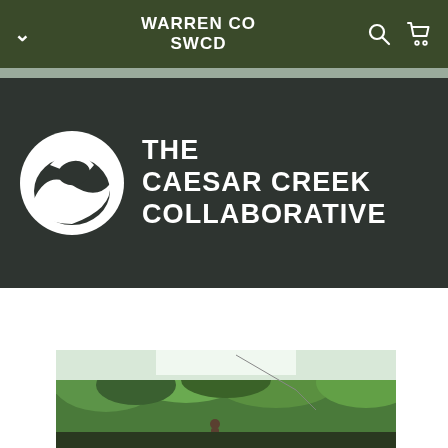WARREN CO SWCD
[Figure (logo): The Caesar Creek Collaborative logo: white circular emblem with stylized wave/leaf shapes on dark background, with text THE CAESAR CREEK COLLABORATIVE in white bold uppercase]
[Figure (photo): Outdoor landscape photo showing people near a wooded creek area with lush green trees in spring/summer]